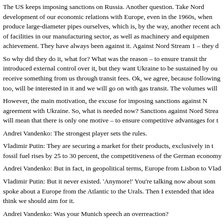The US keeps imposing sanctions on Russia. Another question. Take Nord development of our economic relations with Europe, even in the 1960s, when produce large-diameter pipes ourselves, which is, by the way, another recent ach of facilities in our manufacturing sector, as well as machinery and equipmen achievement. They have always been against it. Against Nord Stream 1 – they d
So why did they do it, what for? What was the reason – to ensure transit thr introduced external control over it, but they want Ukraine to be sustained by ou receive something from us through transit fees. Ok, we agree, because following too, will be interested in it and we will go on with gas transit. The volumes will
However, the main motivation, the excuse for imposing sanctions against N agreement with Ukraine. So, what is needed now? Sanctions against Nord Strea will mean that there is only one motive – to ensure competitive advantages for t
Andrei Vandenko: The strongest player sets the rules.
Vladimir Putin: They are securing a market for their products, exclusively in t fossil fuel rises by 25 to 30 percent, the competitiveness of the German economy
Andrei Vandenko: But in fact, in geopolitical terms, Europe from Lisbon to Vlad
Vladimir Putin: But it never existed. 'Anymore!' You're talking now about som spoke about a Europe from the Atlantic to the Urals. Then I extended that idea think we should aim for it.
Andrei Vandenko: Was your Munich speech an overreaction?
Vladimir Putin: Not at all. Now they repeat everything I said. For example, the angry with me, they said, why did you do that?
Andrei Vandenko: They took offense.
Vladimir Putin: No. Got angry because, well, it was a bit rude, at the wrong t country, the United States, extends its jurisdiction beyond its national borders.